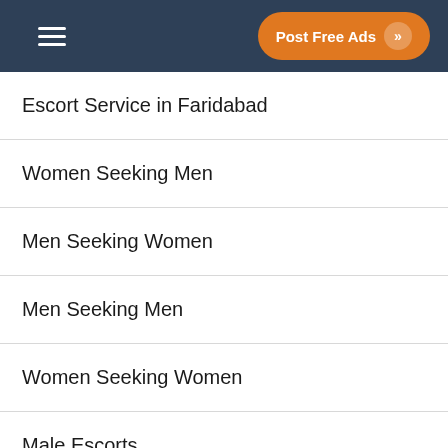Post Free Ads
Escort Service in Faridabad
Women Seeking Men
Men Seeking Women
Men Seeking Men
Women Seeking Women
Male Escorts
Escort Service
Independent Escorts